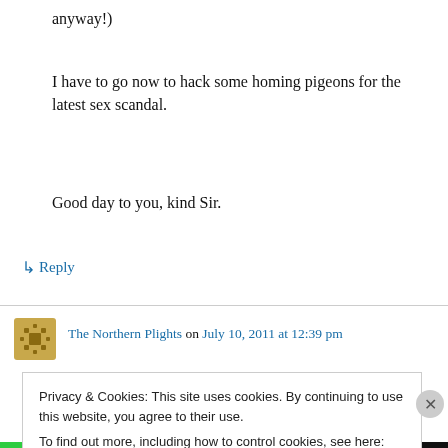anyway!)
I have to go now to hack some homing pigeons for the latest sex scandal.
Good day to you, kind Sir.
↳ Reply
The Northern Plights on July 10, 2011 at 12:39 pm
Dear Carrie,
Privacy & Cookies: This site uses cookies. By continuing to use this website, you agree to their use.
To find out more, including how to control cookies, see here: Cookie Policy
Close and accept